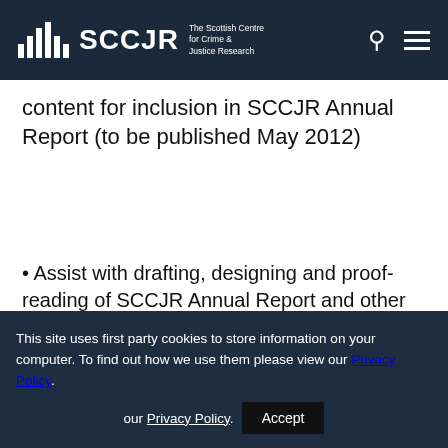SCCJR The Scottish Centre for Crime & Justice Research
content for inclusion in SCCJR Annual Report (to be published May 2012)
• Assist with drafting, designing and proof-reading of SCCJR Annual Report and other SCCJR reports and briefings
This site uses first party cookies to store information on your computer. To find out how we use them please view our Privacy Policy.
Accept